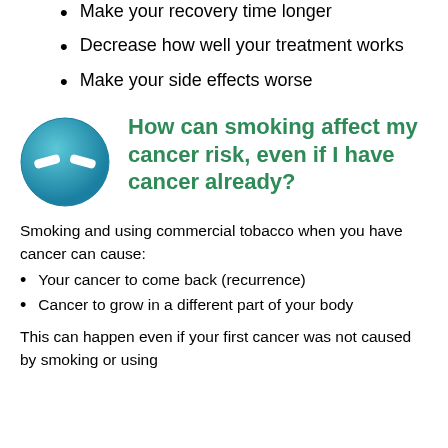Make your recovery time longer
Decrease how well your treatment works
Make your side effects worse
[Figure (illustration): Teal circle icon with a broken/crossed cigarette symbol in white]
How can smoking affect my cancer risk, even if I have cancer already?
Smoking and using commercial tobacco when you have cancer can cause:
Your cancer to come back (recurrence)
Cancer to grow in a different part of your body
This can happen even if your first cancer was not caused by smoking or using